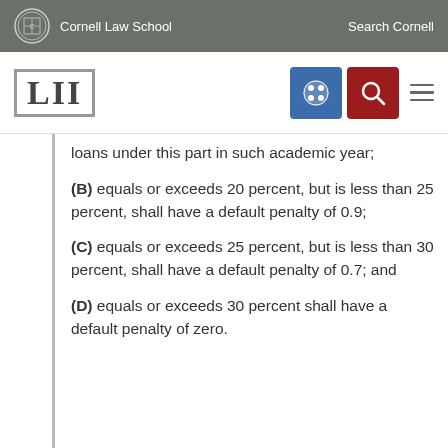Cornell Law School | Search Cornell
[Figure (logo): LII Legal Information Institute logo with Cornell Law School header and navigation icons]
loans under this part in such academic year;
(B) equals or exceeds 20 percent, but is less than 25 percent, shall have a default penalty of 0.9;
(C) equals or exceeds 25 percent, but is less than 30 percent, shall have a default penalty of 0.7; and
(D) equals or exceeds 30 percent shall have a default penalty of zero.